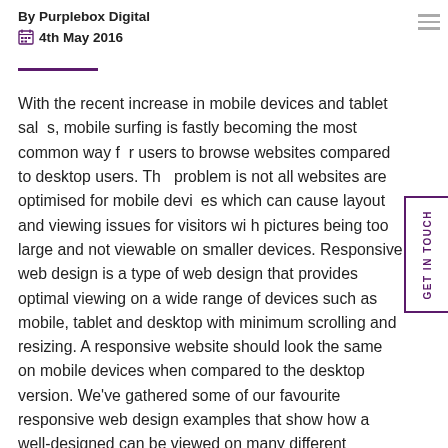By Purplebox Digital
4th May 2016
With the recent increase in mobile devices and tablet sales, mobile surfing is fastly becoming the most common way for users to browse websites compared to desktop users. The problem is not all websites are optimised for mobile devices which can cause layout and viewing issues for visitors with pictures being too large and not viewable on smaller devices. Responsive web design is a type of web design that provides optimal viewing on a wide range of devices such as mobile, tablet and desktop with minimum scrolling and resizing. A responsive website should look the same on mobile devices when compared to the desktop version. We've gathered some of our favourite responsive web design examples that show how a well-designed can be viewed on many different platforms and still look great.